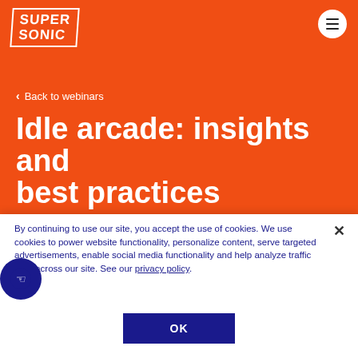[Figure (logo): SuperSonic logo in white text on orange background with border]
< Back to webinars
Idle arcade: insights and best practices
By continuing to use our site, you accept the use of cookies. We use cookies to power website functionality, personalize content, serve targeted advertisements, enable social media functionality and help analyze traffic from across our site. See our privacy policy.
OK